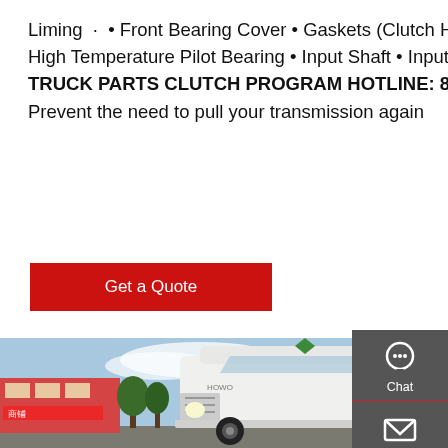Liming · • Front Bearing Cover • Gaskets (Clutch Housing, Shift Lever & Front Bearing Cover) • High Temperature Pilot Bearing • Input Shaft • Input Shaft Bearing • Retaining Rings ALLIANCE TRUCK PARTS CLUTCH PROGRAM HOTLINE: 844-854-8034 / alliancetruckparts.com Prevent the need to pull your transmission again
Get a Quote
[Figure (photo): White semi-truck cab (HOWO/Sinotruk style) parked in front of a Chinese commercial building, photographed from slightly below front-left angle, blue sky with clouds.]